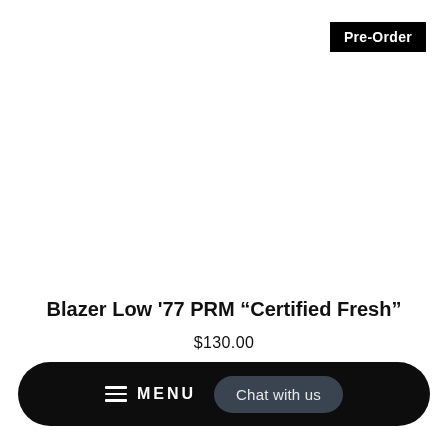Pre-Order
Blazer Low '77 PRM “Certified Fresh”
$130.00
MENU  Chat with us